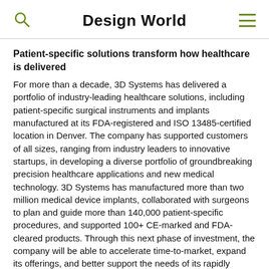Design World
Patient-specific solutions transform how healthcare is delivered
For more than a decade, 3D Systems has delivered a portfolio of industry-leading healthcare solutions, including patient-specific surgical instruments and implants manufactured at its FDA-registered and ISO 13485-certified location in Denver. The company has supported customers of all sizes, ranging from industry leaders to innovative startups, in developing a diverse portfolio of groundbreaking precision healthcare applications and new medical technology. 3D Systems has manufactured more than two million medical device implants, collaborated with surgeons to plan and guide more than 140,000 patient-specific procedures, and supported 100+ CE-marked and FDA-cleared products. Through this next phase of investment, the company will be able to accelerate time-to-market, expand its offerings, and better support the needs of its rapidly growing customer base. This positions 3D Systems to continue its strong growth trajectory for patient-specific